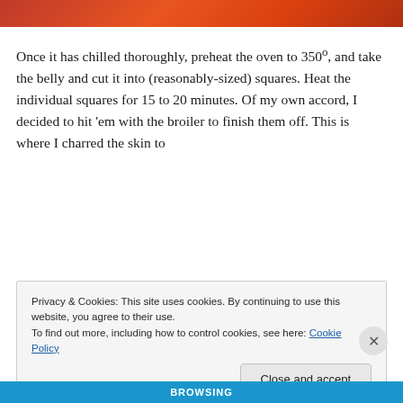[Figure (photo): Top strip showing a close-up photo of food with red/orange tones, partially cropped]
Once it has chilled thoroughly, preheat the oven to 350°, and take the belly and cut it into (reasonably-sized) squares. Heat the individual squares for 15 to 20 minutes. Of my own accord, I decided to hit 'em with the broiler to finish them off. This is where I charred the skin to
Privacy & Cookies: This site uses cookies. By continuing to use this website, you agree to their use.
To find out more, including how to control cookies, see here: Cookie Policy
Close and accept